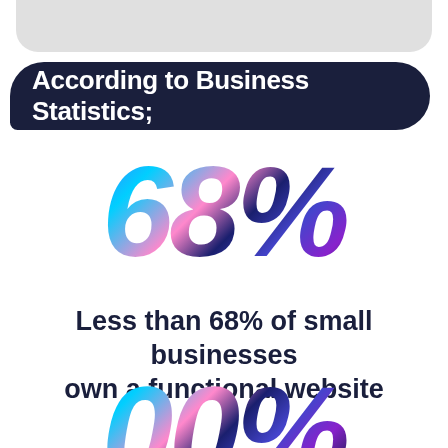According to Business Statistics;
[Figure (infographic): Large stylized '68%' text with colorful holographic/gradient effect in blues, purples, and pinks]
Less than 68% of small businesses own a functional website
[Figure (infographic): Partial view of another large stylized percentage number with colorful holographic/gradient effect, cropped at bottom of page]